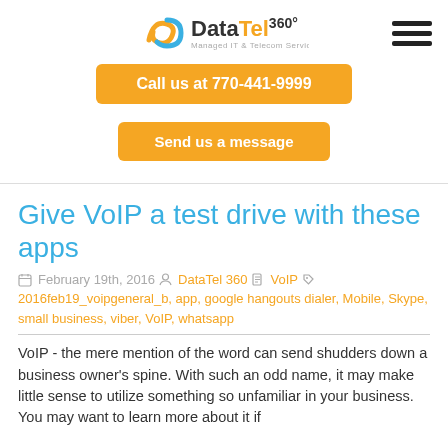DataTel 360 - Managed IT & Telecom Services
Call us at 770-441-9999
Send us a message
Give VoIP a test drive with these apps
February 19th, 2016  DataTel 360  VoIP  2016feb19_voipgeneral_b, app, google hangouts dialer, Mobile, Skype, small business, viber, VoIP, whatsapp
VoIP - the mere mention of the word can send shudders down a business owner's spine. With such an odd name, it may make little sense to utilize something so unfamiliar in your business. You may want to learn more about it if…